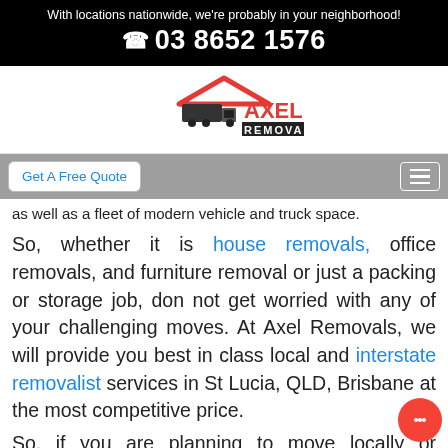With locations nationwide, we're probably in your neighborhood!
☎ 03 8652 1576
[Figure (logo): Axel Removals logo with red roof outline, black truck silhouette, red and black text 'AXEL REMOVALS']
Get A Free Quote
as well as a fleet of modern vehicle and truck space.
So, whether it is house removals, office removals, and furniture removal or just a packing or storage job, don not get worried with any of your challenging moves. At Axel Removals, we will provide you best in class local and interstate removalist services in St Lucia, QLD, Brisbane at the most competitive price.
So, if you are planning to move locally or interstate, do not hesitate to call us to let us know your e...